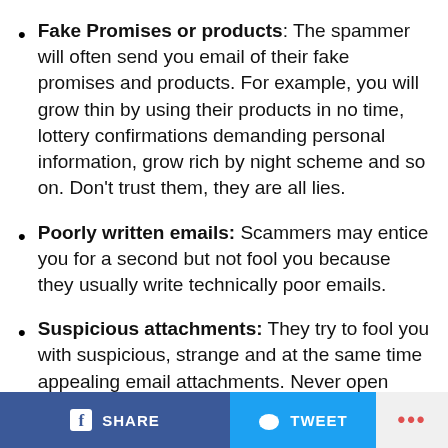Fake Promises or products: The spammer will often send you email of their fake promises and products. For example, you will grow thin by using their products in no time, lottery confirmations demanding personal information, grow rich by night scheme and so on. Don't trust them, they are all lies.
Poorly written emails: Scammers may entice you for a second but not fool you because they usually write technically poor emails.
Suspicious attachments: They try to fool you with suspicious, strange and at the same time appealing email attachments. Never open those. Directly delete those emails.
Verify the signatures: A legitimate source always contains verified signatures. Always remember to
SHARE   TWEET   ...